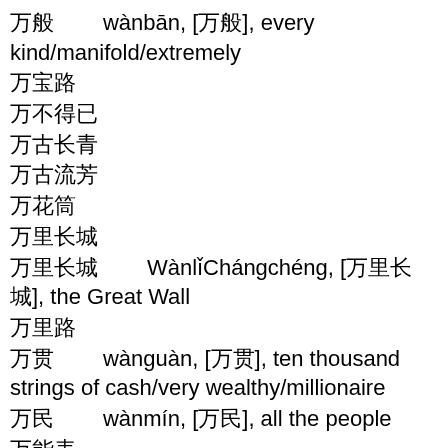万般        wànbān, [万般], every kind/manifold/extremely
万宝路
万不得已
万古长青
万古流芳
万花筒
万里长城
万里长城        WànlǐChángchéng, [万里长城], the Great Wall
万里路
万贯        wànguàn, [万贯], ten thousand strings of cash/very wealthy/millionaire
万民        wànmín, [万民], all the people
万能表
千变万化万化
千变万化        qiānbiànwànhuà, [千变万化], countless